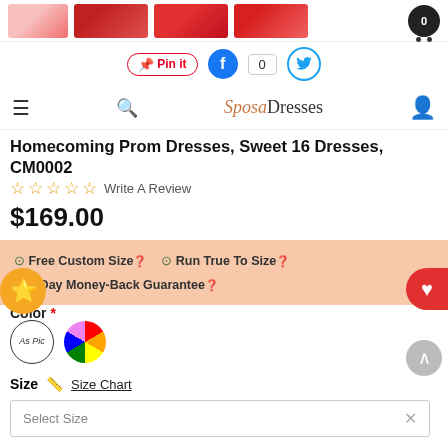[Figure (screenshot): Product thumbnail images showing red/pink prom dresses]
[Figure (screenshot): Social share buttons: Pinterest Pin it, Facebook 0, Twitter]
[Figure (screenshot): Navigation bar with hamburger menu, search, SposasDresses logo, user icon]
Homecoming Prom Dresses, Sweet 16 Dresses, CM0002
☆ ☆ ☆ ☆ ☆ Write A Review
$169.00
✅ Free Custom Size ? ✅ Run True To Size ? ✅ 7-Day Money-Back Guarantee ?
Color *
[Figure (illustration): Color swatches: As Pic circle and rainbow color wheel circle]
Size  Size Chart
Select Size